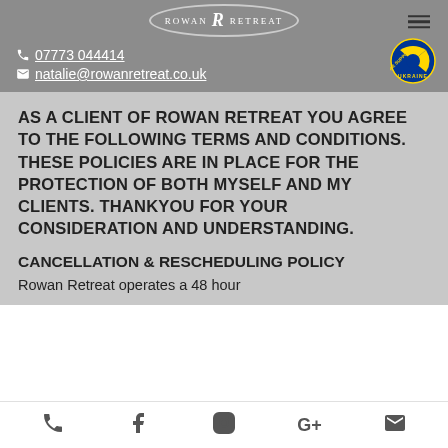ROWAN RETREAT
07773 044414
natalie@rowanretreat.co.uk
AS A CLIENT OF ROWAN RETREAT YOU AGREE TO THE FOLLOWING TERMS AND CONDITIONS. THESE POLICIES ARE IN PLACE FOR THE PROTECTION OF BOTH MYSELF AND MY CLIENTS. THANKYOU FOR YOUR CONSIDERATION AND UNDERSTANDING.
CANCELLATION & RESCHEDULING POLICY
Rowan Retreat operates a 48 hour
phone | facebook | instagram | google+ | email